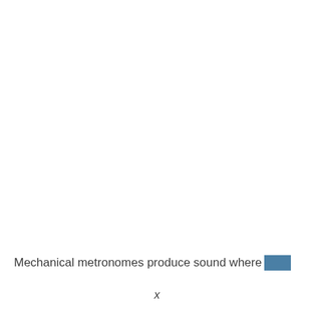Mechanical metronomes produce sound where▮
x